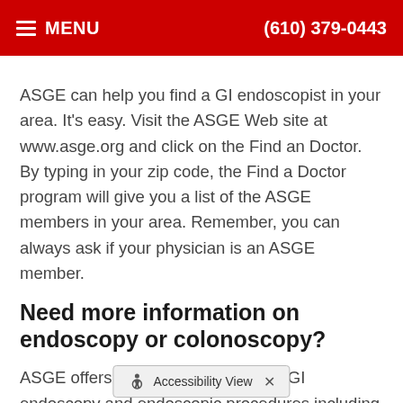MENU  (610) 379-0443
ASGE can help you find a GI endoscopist in your area. It's easy. Visit the ASGE Web site at www.asge.org and click on the Find an Doctor. By typing in your zip code, the Find a Doctor program will give you a list of the ASGE members in your area. Remember, you can always ask if your physician is an ASGE member.
Need more information on endoscopy or colonoscopy?
ASGE offers additional materials on GI endoscopy and endoscopic procedures including brochures on Upper GI Endoscopy, Endoscopic Ultrasound, ERCP, Flexible Sigmoidoscope, ... a the